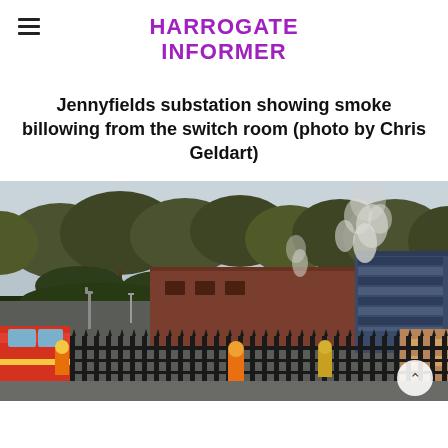HARROGATE INFORMER
Jennyfields substation showing smoke billowing from the switch room (photo by Chris Geldart)
[Figure (photo): Photograph of Jennyfields substation with smoke billowing from the switch room. Shows a brick building with dark metal fence in foreground, trees in background, smoke rising from the right side of the building. A fire engine is visible on the left side.]